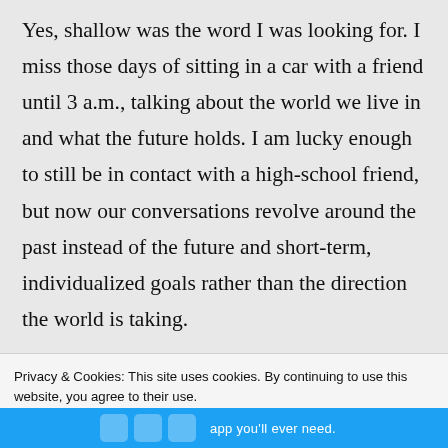Yes, shallow was the word I was looking for. I miss those days of sitting in a car with a friend until 3 a.m., talking about the world we live in and what the future holds. I am lucky enough to still be in contact with a high-school friend, but now our conversations revolve around the past instead of the future and short-term, individualized goals rather than the direction the world is taking.
Privacy & Cookies: This site uses cookies. By continuing to use this website, you agree to their use.
To find out more, including how to control cookies, see here: Cookie Policy
Close and accept
[Figure (screenshot): Blue banner at the bottom showing app icons and partial text 'app you'll ever need.']